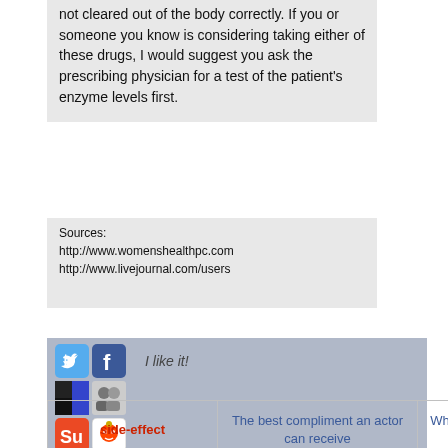not cleared out of the body correctly. If you or someone you know is considering taking either of these drugs, I would suggest you ask the prescribing physician for a test of the patient's enzyme levels first.
Sources:
http://www.womenshealthpc.com
http://www.livejournal.com/users
[Figure (other): Social sharing bar with icons for Twitter, Facebook, Delicious, MySpace/contacts, StumbleUpon, Reddit, and I like it! text]
| side-effect | The best compliment an actor can receive | Why are the people on food stamps always fat? | Why it's rude to open a door for a woman |